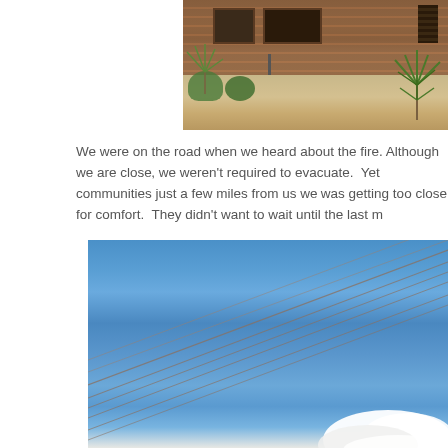[Figure (photo): Partial view of a brick building with dark shuttered windows, desert landscaping including yucca plants and shrubs, a lamp post, and a gravel/sandy front area. Photo is cropped showing only the right portion of the building facade.]
We were on the road when we heard about the fire. Although we are close, we weren't required to evacuate.  Yet communities just a few miles from us were getting too close for comfort.  They didn't want to wait until the last m
[Figure (photo): Blue sky with diagonal power lines crossing the frame from lower-left to upper-right, and a white cumulus cloud visible at the bottom-right corner.]